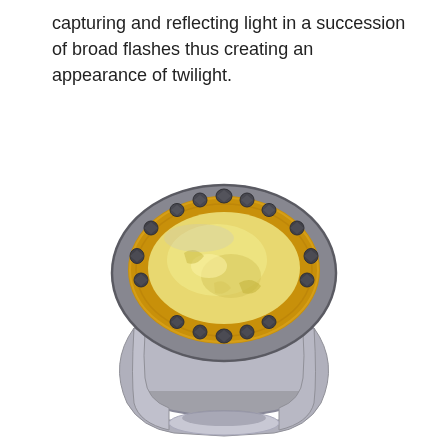capturing and reflecting light in a succession of broad flashes thus creating an appearance of twilight.
[Figure (photo): A decorative ring with an oxidized silver band, featuring a large oval yellow/gold rough gemstone center surrounded by a gold textured border with small dark faceted stones set around the perimeter.]